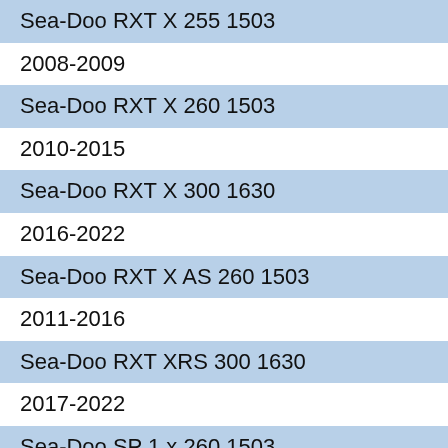Sea-Doo RXT X 255 1503
2008-2009
Sea-Doo RXT X 260 1503
2010-2015
Sea-Doo RXT X 300 1630
2016-2022
Sea-Doo RXT X AS 260 1503
2011-2016
Sea-Doo RXT XRS 300 1630
2017-2022
Sea-Doo SP 1 x 260 1503
2012
Sea-Doo SP 2 x 155 1503
2012
Sea-Doo SP 2 x 215 1503
2012
Sea-Doo SP 2 x 260 1503
2012
Sea-Doo Spark 2Up 900
2015-2020